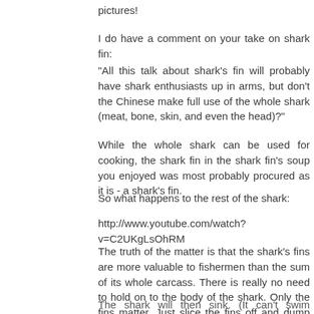pictures!
I do have a comment on your take on shark fin:
"All this talk about shark's fin will probably have shark enthusiasts up in arms, but don't the Chinese make full use of the whole shark (meat, bone, skin, and even the head)?"
While the whole shark can be used for cooking, the shark fin in the shark fin's soup you enjoyed was most probably procured as it is - a shark's fin.
So what happens to the rest of the shark:
http://www.youtube.com/watch?v=C2UKgLsOhRM
The truth of the matter is that the shark's fins are more valuable to fishermen than the sum of its whole carcass. There is really no need to hold on to the body of the shark. Only the fins matter. Just slice the fins off and dump the rest of it back into the sea.
The shark will then sink. (It can't swim without its fins.) and it